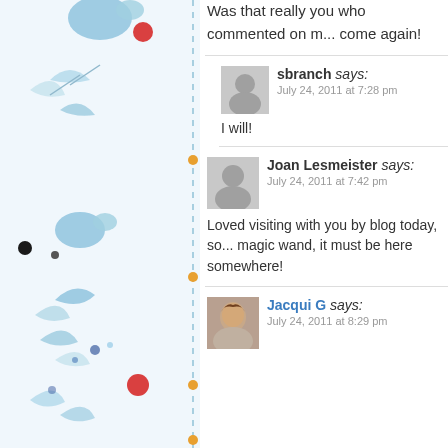Was that really you who commented on m... come again!
sbranch says: July 24, 2011 at 7:28 pm — I will!
Joan Lesmeister says: July 24, 2011 at 7:42 pm — Loved visiting with you by blog today, so... magic wand, it must be here somewhere!
Jacqui G says: July 24, 2011 at 8:29 pm